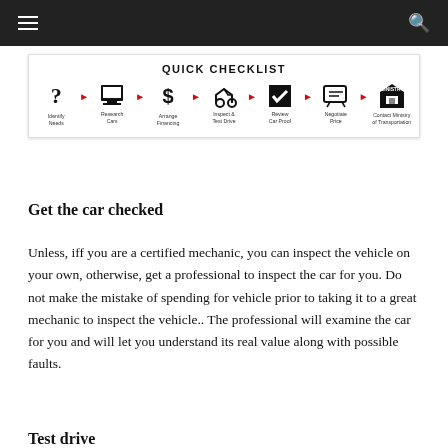[Figure (infographic): Quick Checklist infographic showing a step-by-step car buying process flow: Identify Needs → Research Cars → Arrange Financing → Inspect & Test Drive → Review Car Proof → Negotiate Price → Contact Ministry of Transportation. Each step shown with an icon and red arrow connectors.]
Get the car checked
Unless, iff you are a certified mechanic, you can inspect the vehicle on your own, otherwise, get a professional to inspect the car for you. Do not make the mistake of spending for vehicle prior to taking it to a great mechanic to inspect the vehicle.. The professional will examine the car for you and will let you understand its real value along with possible faults.
Test drive